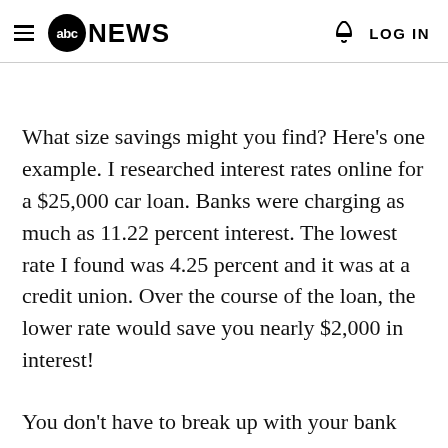abc NEWS  LOG IN
What size savings might you find? Here's one example. I researched interest rates online for a $25,000 car loan. Banks were charging as much as 11.22 percent interest. The lowest rate I found was 4.25 percent and it was at a credit union. Over the course of the loan, the lower rate would save you nearly $2,000 in interest!
You don't have to break up with your bank